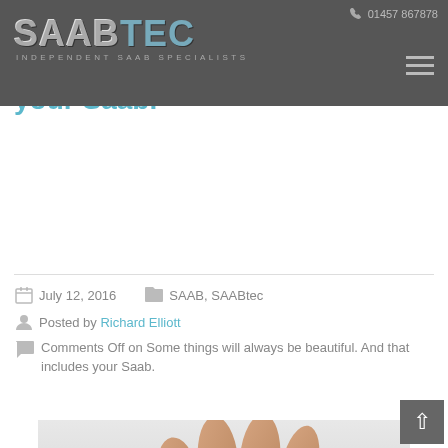SAABTEC INDEPENDENT SAAB SPECIALISTS — 01457 867878
Some things will always be beautiful. And that includes your Saab.
July 12, 2016   SAAB, SAABtec
Posted by Richard Elliott
Comments Off on Some things will always be beautiful. And that includes your Saab.
[Figure (photo): A hand resting on a Saab car surface with a Saab badge visible and text 'Still...' partially visible]